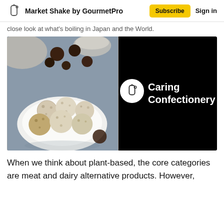Market Shake by GourmetPro | Subscribe | Sign in
close look at what's boiling in Japan and the World.
[Figure (photo): Photo of coconut-covered energy balls on a white plate with dates scattered in the background. Right side is a black panel with a white circular icon of a shaker bottle and text 'Caring Confectionery' in white bold font.]
When we think about plant-based, the core categories are meat and dairy alternative products. However,